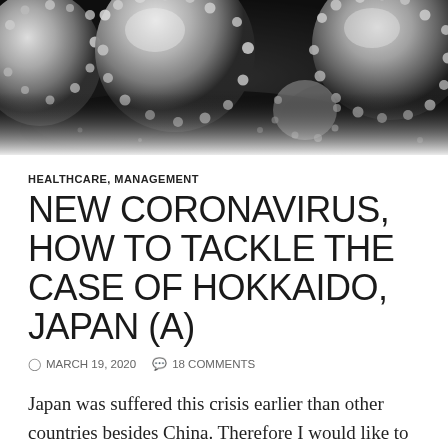[Figure (photo): Electron microscope image of coronavirus particles — white/grey spherical shapes with surface proteins visible against a dark background]
HEALTHCARE, MANAGEMENT
NEW CORONAVIRUS, HOW TO TACKLE THE CASE OF HOKKAIDO, JAPAN (A)
MARCH 19, 2020   18 COMMENTS
Japan was suffered this crisis earlier than other countries besides China. Therefore I would like to share with you our experience and countermeasures to this virus. I hope they would help you to make strategies to cope with this problem.